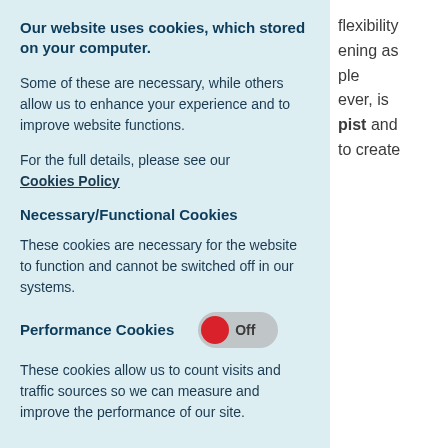Our website uses cookies, which stored on your computer.
Some of these are necessary, while others allow us to enhance your experience and to improve website functions.
For the full details, please see our Cookies Policy
Necessary/Functional Cookies
These cookies are necessary for the website to function and cannot be switched off in our systems.
Performance Cookies
[Figure (other): Toggle switch in Off position with red circle on left side]
These cookies allow us to count visits and traffic sources so we can measure and improve the performance of our site.
flexibility
ening as
ple
ever, is
pist and
to create